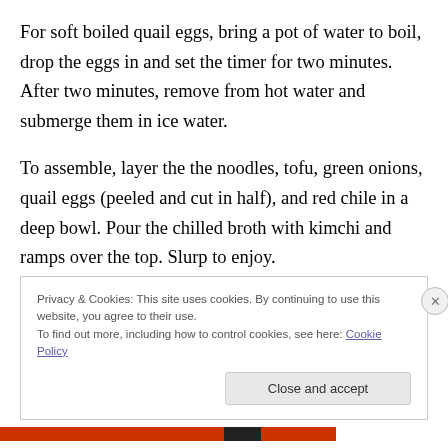For soft boiled quail eggs, bring a pot of water to boil, drop the eggs in and set the timer for two minutes. After two minutes, remove from hot water and submerge them in ice water.
To assemble, layer the the noodles, tofu, green onions, quail eggs (peeled and cut in half), and red chile in a deep bowl. Pour the chilled broth with kimchi and ramps over the top. Slurp to enjoy.
Privacy & Cookies: This site uses cookies. By continuing to use this website, you agree to their use. To find out more, including how to control cookies, see here: Cookie Policy
Close and accept